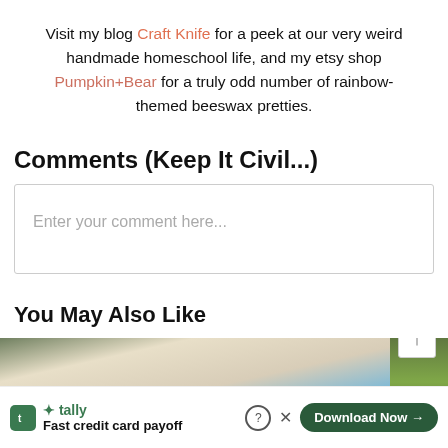Visit my blog Craft Knife for a peek at our very weird handmade homeschool life, and my etsy shop Pumpkin+Bear for a truly odd number of rainbow-themed beeswax pretties.
Comments (Keep It Civil...)
Enter your comment here...
You May Also Like
[Figure (photo): Partial view of a photo strip showing people/objects in outdoor setting with blue and beige tones]
[Figure (screenshot): Advertisement banner for Tally app - Fast credit card payoff with Download Now button]